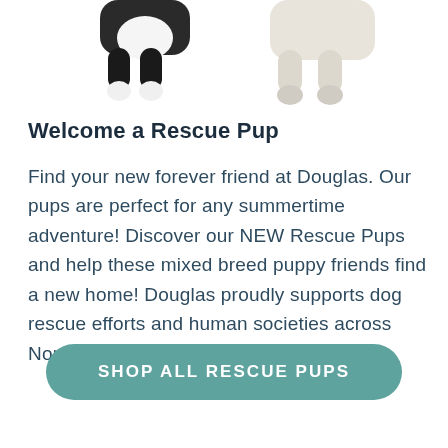[Figure (photo): Partial view of stuffed animal puppy toys at the top of the page — left shows a black and white plush puppy's legs and body, right shows a white/cream plush puppy's legs and body, both against a white background.]
Welcome a Rescue Pup
Find your new forever friend at Douglas. Our pups are perfect for any summertime adventure! Discover our NEW Rescue Pups and help these mixed breed puppy friends find a new home! Douglas proudly supports dog rescue efforts and human societies across North America.
SHOP ALL RESCUE PUPS